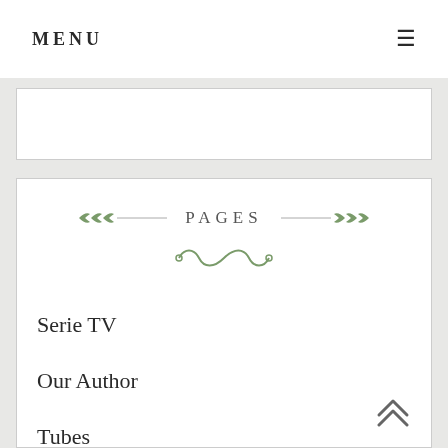MENU
PAGES
Serie TV
Our Author
Tubes
The Office
TV